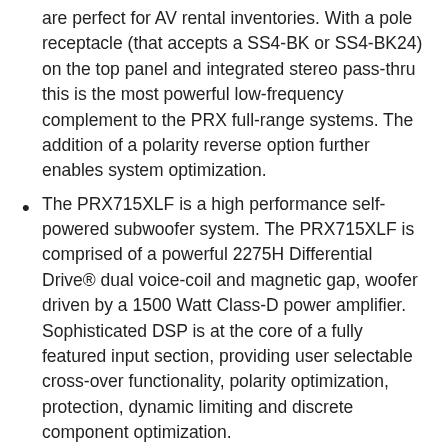are perfect for AV rental inventories. With a pole receptacle (that accepts a SS4-BK or SS4-BK24) on the top panel and integrated stereo pass-thru this is the most powerful low-frequency complement to the PRX full-range systems. The addition of a polarity reverse option further enables system optimization.
The PRX715XLF is a high performance self-powered subwoofer system. The PRX715XLF is comprised of a powerful 2275H Differential Drive® dual voice-coil and magnetic gap, woofer driven by a 1500 Watt Class-D power amplifier. Sophisticated DSP is at the core of a fully featured input section, providing user selectable cross-over functionality, polarity optimization, protection, dynamic limiting and discrete component optimization.
All PRX700 cabinets are built from a combination of 25mm (on the top and bottom for added rigidity) and 18mm, strong, light-weight poplar plywood made structurally sound with tongue and groove joints. All